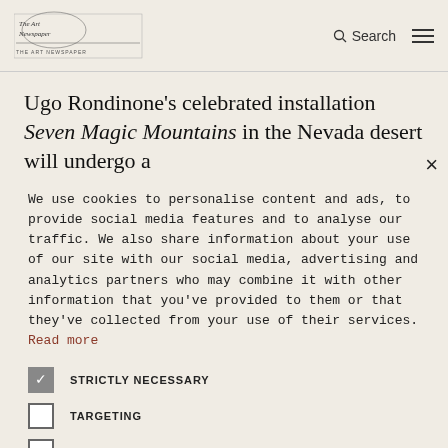[Logo] Search [Menu]
Ugo Rondinone's celebrated installation Seven Magic Mountains in the Nevada desert will undergo a
We use cookies to personalise content and ads, to provide social media features and to analyse our traffic. We also share information about your use of our site with our social media, advertising and analytics partners who may combine it with other information that you've provided to them or that they've collected from your use of their services. Read more
STRICTLY NECESSARY
TARGETING
UNCLASSIFIED
ACCEPT ALL
DECLINE ALL
SHOW DETAILS